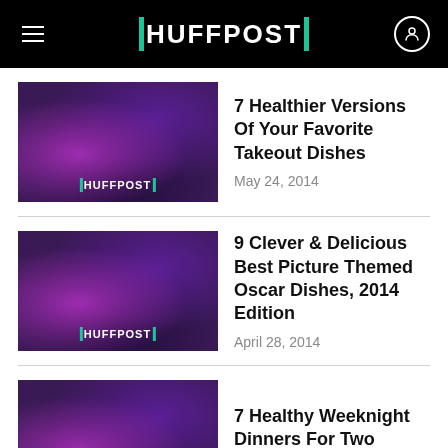HUFFPOST
7 Healthier Versions Of Your Favorite Takeout Dishes — May 24, 2014
9 Clever & Delicious Best Picture Themed Oscar Dishes, 2014 Edition — April 28, 2014
7 Healthy Weeknight Dinners For Two — April 23, 2014
The 7 Best Cozy, Comforting Après-ski Dishes